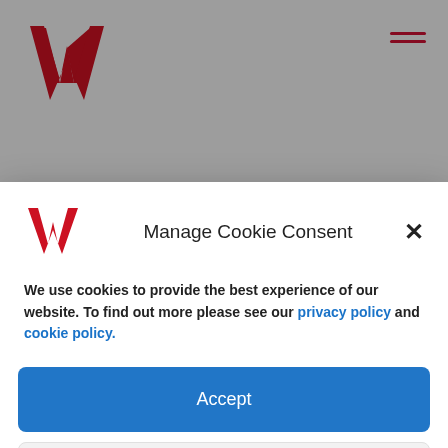[Figure (logo): W logo in red, top left of page header]
[Figure (logo): Hamburger menu icon (two red lines) top right of header]
Photography and film
Need insurance?
[Figure (logo): W logo in red, inside cookie consent modal]
Manage Cookie Consent
We use cookies to provide the best experience of our website. To find out more please see our privacy policy and cookie policy.
Accept
View preferences